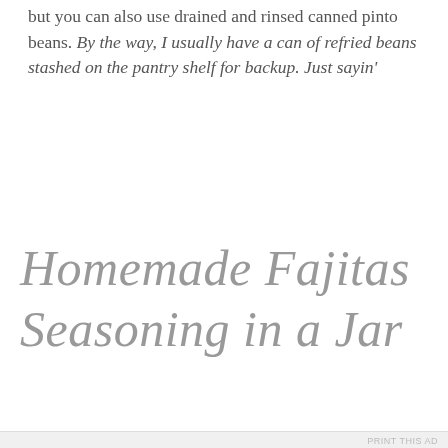but you can also use drained and rinsed canned pinto beans. By the way, I usually have a can of refried beans stashed on the pantry shelf for backup. Just sayin'
Homemade Fajitas Seasoning in a Jar
Privacy & Cookies: This site uses cookies. By continuing to use this website, you agree to their use.
To find out more, including how to control cookies, see here: Cookie Policy
[Close and accept]